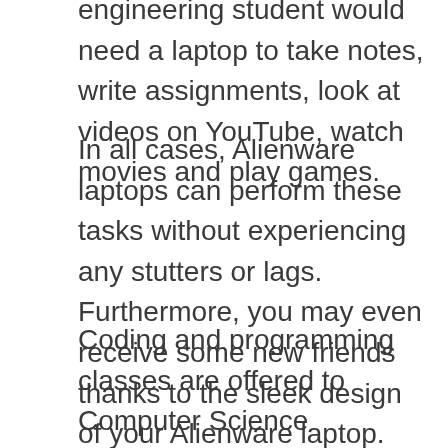engineering student would need a laptop to take notes, write assignments, look at videos on YouTube, watch movies and play games.
In all cases, Alienware laptops can perform these tasks without experiencing any stutters or lags. Furthermore, you may even receive some new friends thanks to the sleek design of your Alienware laptop. The needs of your discipline will change over the next three years.
Coding and programming classes are offered to Computer Science Engineering students. This program will teach you how to code in several languages including Java, Python, Ruby on Rails, JavaScript, C, C++, AngularJS, PHP, HTML and CSS.